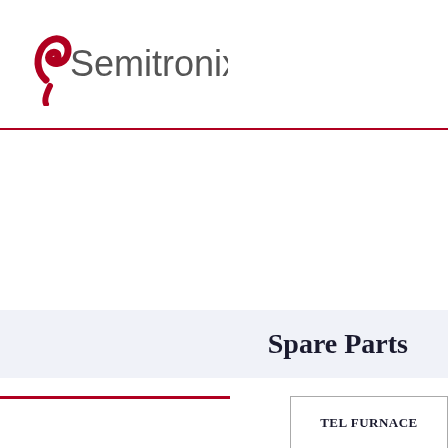[Figure (logo): Semitronix company logo with red comma-like mark and gray text]
Spare Parts
TEL FURNACE